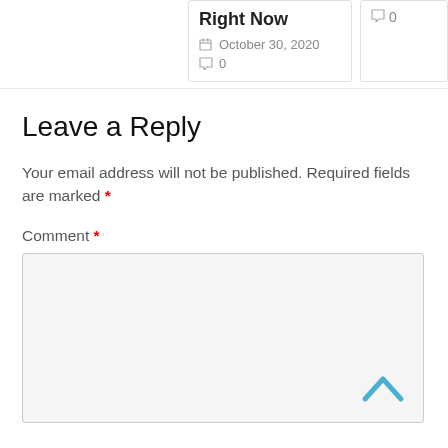Right Now | October 30, 2020 | 0 comments
0
Leave a Reply
Your email address will not be published. Required fields are marked *
Comment *